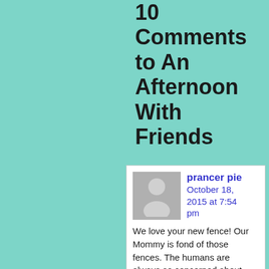10 Comments to An Afternoon With Friends
prancer pie
October 18, 2015 at 7:54 pm

We love your new fence! Our Mommy is fond of those fences. The humans are always so concerned about fencing us in and our safety for some reason….maybe because they love us so much??
Thank you for sharing your friends with us, we had know idea you knew a monster!
Have a great week, Mudskipper.
XOXO